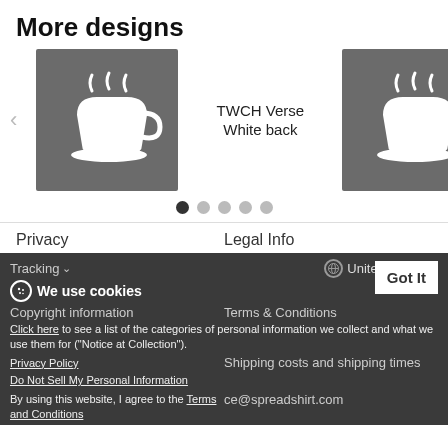More designs
[Figure (illustration): TWCH (The Well Coffee House) logo on dark grey square background - white coffee cup with steam, text TWCH VERSE WHITE BACK, John 4:14]
TWCH Verse
White back
[Figure (illustration): TWCH (The Well Coffee House) logo on dark grey square background - white coffee cup with steam, text TWCH VERSE WHITE BACK, John 4:14]
TWCH Verse
White back
Privacy
Legal Info
Tracking
United States
We use cookies
Copyright information
Terms & Conditions
Click here to see a list of the categories of personal information we collect and what we use them for ("Notice at Collection").
Shipping costs and shipping times
Privacy Policy
Do Not Sell My Personal Information
By using this website, I agree to the Terms and Conditions